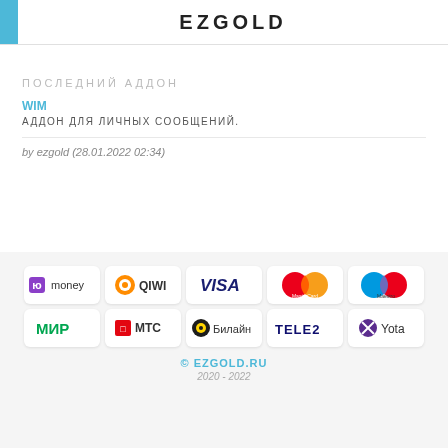EZGOLD
ПОСЛЕДНИЙ АДДОН
WIM
АДДОН ДЛЯ ЛИЧНЫХ СООБЩЕНИЙ.
by ezgold (28.01.2022 02:34)
[Figure (logo): Payment methods logos: ЮMoney, QIWI, VISA, MasterCard, Maestro, МИР, МТС, Билайн, TELE2, Yota]
© EZGOLD.RU
2020 - 2022